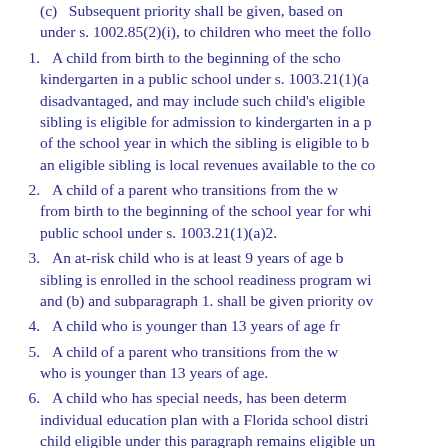(c) Subsequent priority shall be given, based on... under s. 1002.85(2)(i), to children who meet the follo...
1. A child from birth to the beginning of the school year... kindergarten in a public school under s. 1003.21(1)(a)... disadvantaged, and may include such child's eligible... sibling is eligible for admission to kindergarten in a p... of the school year in which the sibling is eligible to b... an eligible sibling is local revenues available to the co...
2. A child of a parent who transitions from the w... from birth to the beginning of the school year for whi... public school under s. 1003.21(1)(a)2.
3. An at-risk child who is at least 9 years of age b... sibling is enrolled in the school readiness program wi... and (b) and subparagraph 1. shall be given priority ov...
4. A child who is younger than 13 years of age fr...
5. A child of a parent who transitions from the w... who is younger than 13 years of age.
6. A child who has special needs, has been determ... individual education plan with a Florida school distri... child eligible under this paragraph remains eligible un... public school under s. 1003.21(1)(a)2.
7. A child who otherwise meets one of the eligib... and 2. but who is also enrolled concurrently in the fec...